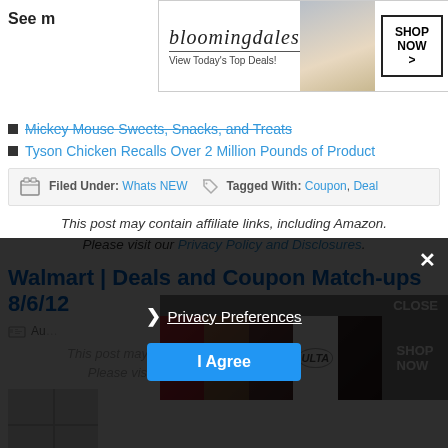See m
[Figure (illustration): Bloomingdales advertisement banner: logo, 'View Today's Top Deals!', model with hat, SHOP NOW button]
Mickey Mouse Sweets, Snacks, and Treats
Tyson Chicken Recalls Over 2 Million Pounds of Product
Filed Under: Whats NEW   Tagged With: Coupon, Deal
This post may contain affiliate links, including Amazon. Please visit our Privacy Policy and Disclosures.
Walmart | Deals and Coupon Match-ups 8/6/12
Au[thor line]
[Figure (illustration): ULTA beauty advertisement overlay with makeup images and SHOP NOW button, CLOSE button]
This post may contain affiliate links, including Amazon. Please visit our Privacy Policy and Disclosures.
Privacy Preferences / I Agree cookie consent overlay